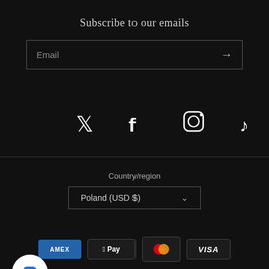Subscribe to our emails
Email →
[Figure (infographic): Social media icons row: Twitter (bird), Facebook (f), Instagram (camera), TikTok (musical note)]
Country/region
Poland (USD $) ˅
[Figure (infographic): Payment method badges: AMEX (American Express), Apple Pay, Mastercard, VISA]
© 2022, Bespoke Plush Powered by Shopify
[Figure (illustration): White circular chat bubble button with blue speech bubble icon]
Rewards